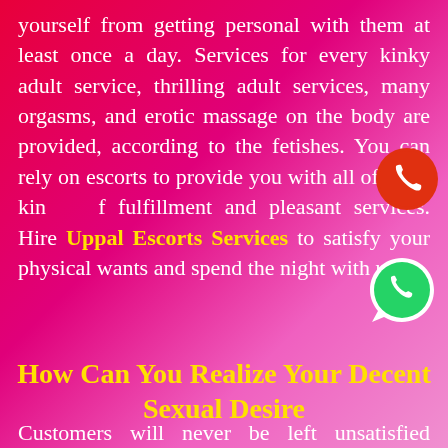yourself from getting personal with them at least once a day. Services for every kinky adult service, thrilling adult services, many orgasms, and erotic massage on the body are provided, according to the fetishes. You can rely on escorts to provide you with all of these kinds of fulfillment and pleasant services. Hire Uppal Escorts Services to satisfy your physical wants and spend the night with us.
How Can You Realize Your Decent Sexual Desire
Customers will never be left unsatisfied because of the enticing personality and attention-seeking escorts services. By using our agency's Uppal escorts services, we ensure that all of their dreams and fantasies come